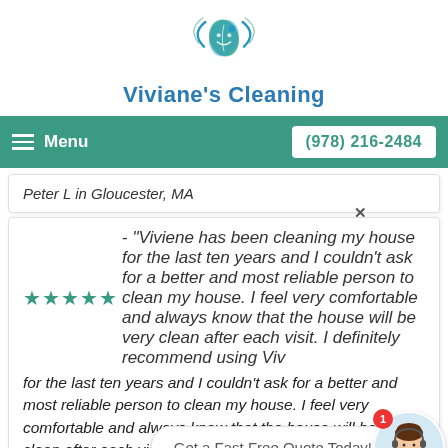[Figure (logo): Viviane's Cleaning logo: circular swoosh with leaf and water drop motif in teal and blue]
Viviane's Cleaning
Menu   (978) 216-2484
Peter L in Gloucester, MA
★★★★★ - "Viviene has been cleaning my house for the last ten years and I couldn't ask for a better and most reliable person to clean my house. I feel very comfortable and always know that the house will be very clean after each visit. I definitely recommend using Viv...
Olga Mile...
Get a Fast Free Quote Today!